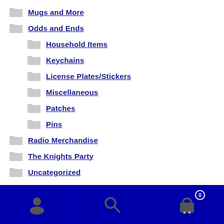Mugs and More
Odds and Ends
Household Items
Keychains
License Plates/Stickers
Miscellaneous
Patches
Pins
Radio Merchandise
The Knights Party
Uncategorized
Account | Search | Cart (0)